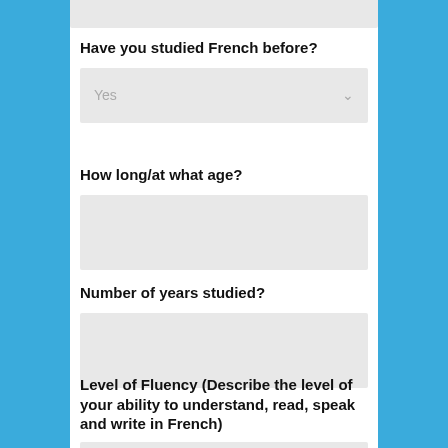Have you studied French before?
Yes
How long/at what age?
Number of years studied?
Level of Fluency (Describe the level of your ability to understand, read, speak and write in French)